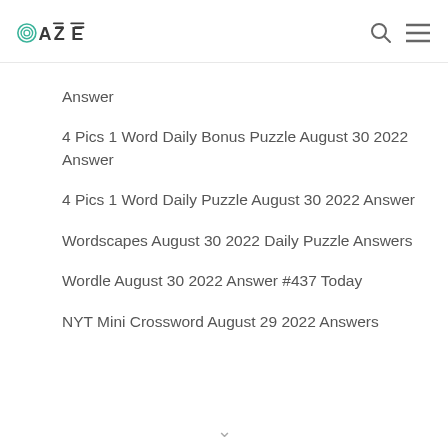OAZE
Answer
4 Pics 1 Word Daily Bonus Puzzle August 30 2022 Answer
4 Pics 1 Word Daily Puzzle August 30 2022 Answer
Wordscapes August 30 2022 Daily Puzzle Answers
Wordle August 30 2022 Answer #437 Today
NYT Mini Crossword August 29 2022 Answers